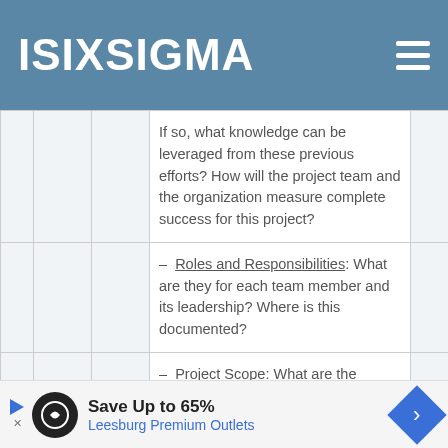ISIXSIGMA
|  |  |  | If so, what knowledge can be leveraged from these previous efforts? How will the project team and the organization measure complete success for this project? |  |
|  |  |  | – Roles and Responsibilities: What are they for each team member and its leadership? Where is this documented? |  |
|  |  |  | – Project Scope: What are the boundaries of the scope? What is in bounds and what is not? What is the start point? What is the stop point? |  |
Save Up to 65% Leesburg Premium Outlets